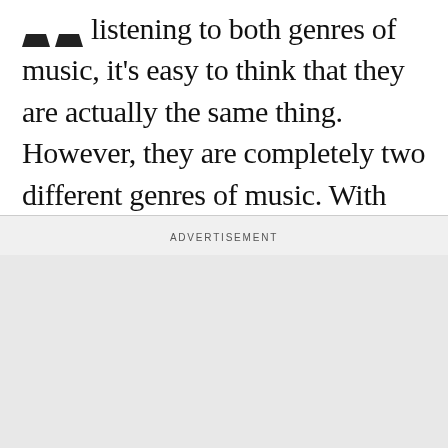listening to both genres of music, it's easy to think that they are actually the same thing. However, they are completely two different genres of music. With that said, it might be hard to tell them apart and that's why it would be helpful to know a few of the differences between these genres. Here are a few basic differences between EDM and trance music.
ADVERTISEMENT